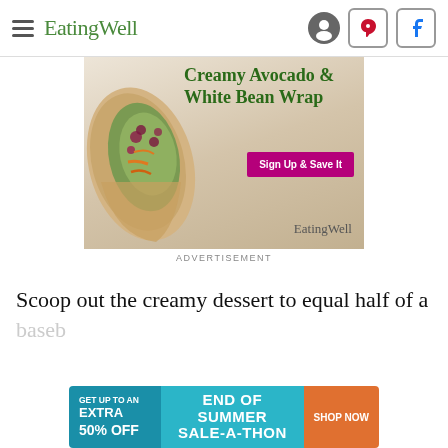EatingWell
[Figure (photo): Advertisement for Creamy Avocado & White Bean Wrap from EatingWell, showing a close-up of a wrap filled with avocado spread, red cabbage, and shredded carrots, with a 'Sign Up & Save It' button and the EatingWell logo.]
ADVERTISEMENT
Scoop out the creamy dessert to equal half of a baseb
[Figure (infographic): End of Summer Sale-A-Thon banner ad. Left section teal: GET UP TO AN EXTRA 50% OFF. Center light blue: END OF SUMMER SALE-A-THON. Right orange: SHOP NOW.]